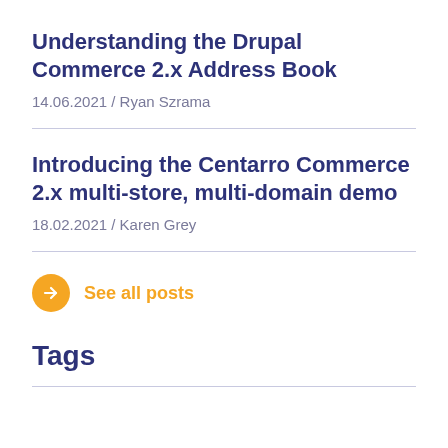Understanding the Drupal Commerce 2.x Address Book
14.06.2021 / Ryan Szrama
Introducing the Centarro Commerce 2.x multi-store, multi-domain demo
18.02.2021 / Karen Grey
See all posts
Tags